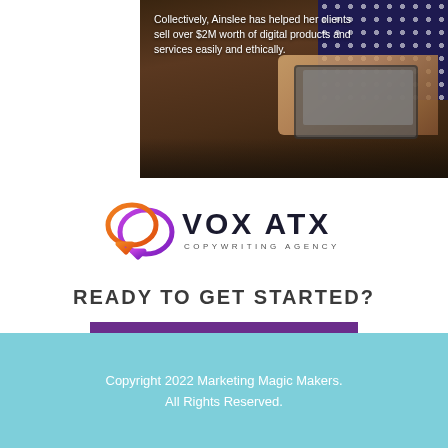[Figure (photo): Person working on a laptop with polka-dot top, with overlay text: 'Collectively, Ainslee has helped her clients sell over $2M worth of digital products and services easily and ethically.']
[Figure (logo): Vox ATX Copywriting Agency logo with speech bubble icon in orange/purple gradient]
READY TO GET STARTED?
[Figure (other): Purple CTA button with text 'LET'S CHAT']
[Figure (other): Social media icons: Facebook and LinkedIn black circular icons]
support@voxatx.com
Copyright 2022 Marketing Magic Makers. All Rights Reserved.